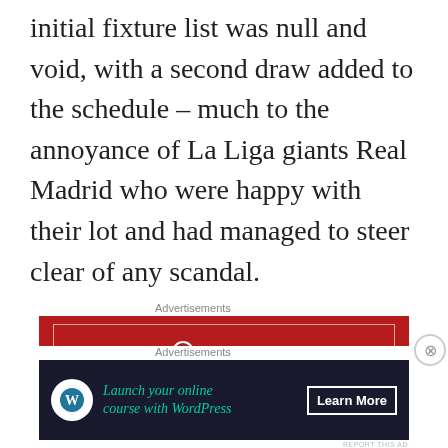initial fixture list was null and void, with a second draw added to the schedule – much to the annoyance of La Liga giants Real Madrid who were happy with their lot and had managed to steer clear of any scandal.
[Figure (other): Longreads advertisement banner: red background with white border, Longreads logo and tagline 'The best stories on the web – ours, and everyone else's.']
It was spotted that it was due to a technical problem with the software of an external service
[Figure (other): Dark advertisement banner: 'Launch your online course with WordPress' with Learn More button and WordPress logo icon.]